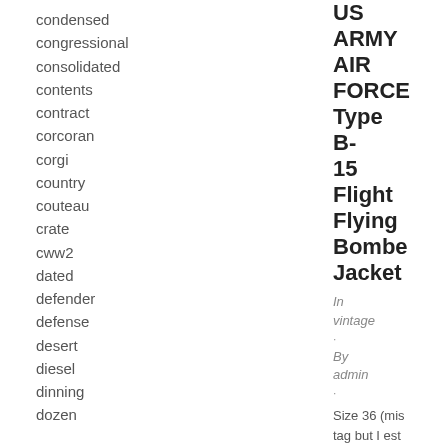condensed
congressional
consolidated
contents
contract
corcoran
corgi
country
couteau
crate
cww2
dated
defender
defense
desert
diesel
dinning
dozen
US ARMY AIR FORCE Type B-15 Flight Flying Bomber Jacket
In
vintage
·
By
admin
·
Size 36 (mis tag but I est The jacket h holes at the rips at the c